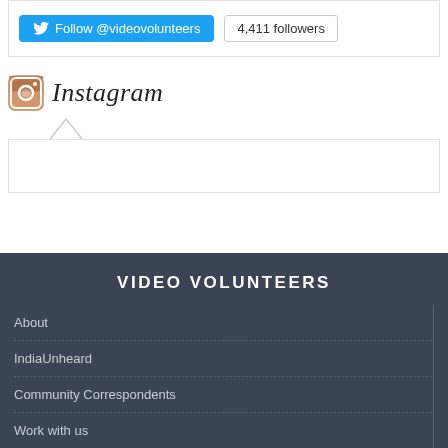[Figure (screenshot): Twitter Follow button for @videovolunteers with 4,411 followers count badge]
Instagram
[Figure (screenshot): Instagram widget area with tooltip arrow, empty content box]
VIDEO VOLUNTEERS
About
IndiaUnheard
Community Correspondents
Work with us